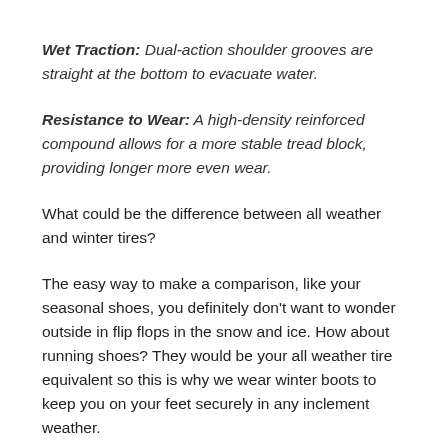Wet Traction: Dual-action shoulder grooves are straight at the bottom to evacuate water.
Resistance to Wear: A high-density reinforced compound allows for a more stable tread block, providing longer more even wear.
What could be the difference between all weather and winter tires?
The easy way to make a comparison, like your seasonal shoes, you definitely don't want to wonder outside in flip flops in the snow and ice. How about running shoes? They would be your all weather tire equivalent so this is why we wear winter boots to keep you on your feet securely in any inclement weather.